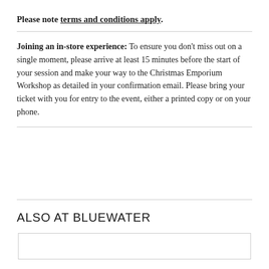Please note terms and conditions apply.
Joining an in-store experience: To ensure you don't miss out on a single moment, please arrive at least 15 minutes before the start of your session and make your way to the Christmas Emporium Workshop as detailed in your confirmation email. Please bring your ticket with you for entry to the event, either a printed copy or on your phone.
ALSO AT BLUEWATER